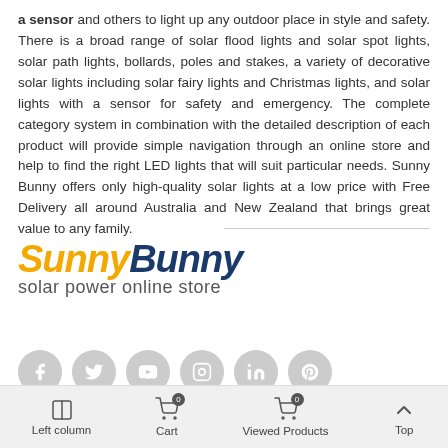a sensor and others to light up any outdoor place in style and safety. There is a broad range of solar flood lights and solar spot lights, solar path lights, bollards, poles and stakes, a variety of decorative solar lights including solar fairy lights and Christmas lights, and solar lights with a sensor for safety and emergency. The complete category system in combination with the detailed description of each product will provide simple navigation through an online store and help to find the right LED lights that will suit particular needs. Sunny Bunny offers only high-quality solar lights at a low price with Free Delivery all around Australia and New Zealand that brings great value to any family.
[Figure (logo): Sunny Bunny solar power online store logo — 'Sunny' in italic bold yellow/gold, 'Bunny' in italic bold dark navy, subtitle 'solar power online store' in grey]
[Figure (infographic): Row of six grey circular social media icon buttons: Facebook, Twitter, YouTube, Instagram, LinkedIn, Pinterest]
Left column  Cart 0  Viewed Products 0  Top